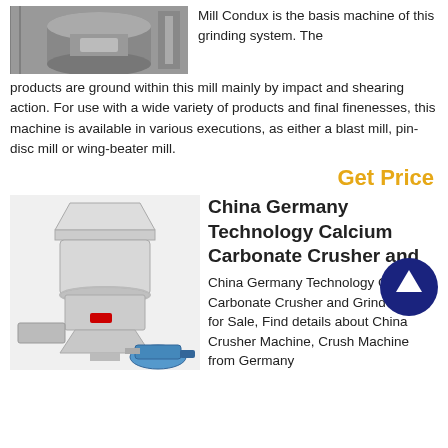[Figure (photo): Industrial mill machine (Condux) - gray cylindrical grinding machine in a facility]
Mill Condux is the basis machine of this grinding system. The products are ground within this mill mainly by impact and shearing action. For use with a wide variety of products and final finenesses, this machine is available in various executions, as either a blast mill, pin-disc mill or wing-beater mill.
Get Price
[Figure (photo): Industrial calcium carbonate crusher and grinder mill machine - white/gray industrial equipment with motor]
China Germany Technology Calcium Carbonate Crusher and
China Germany Technology Calcium Carbonate Crusher and Grinder Mill for Sale, Find details about China Crusher Machine, Crush Machine from Germany